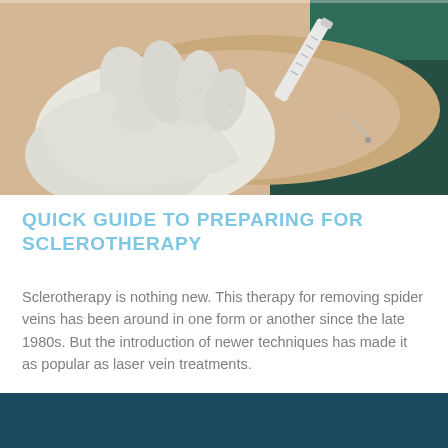[Figure (photo): Close-up photograph of a gloved medical professional's hand holding a syringe and injecting into a patient's skin, with a teal/green fabric visible in the background.]
QUICK GUIDE TO PREPARING FOR SCLEROTHERAPY
Sclerotherapy is nothing new. This therapy for removing spider veins has been around in one form or another since the late 1980s. But the introduction of newer techniques has made it as popular as laser vein treatments.